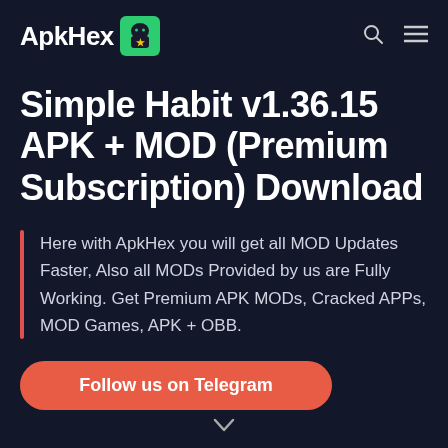ApkHex
Simple Habit v1.36.15 APK + MOD (Premium Subscription) Download
Here with ApkHex you will get all MOD Updates Faster, Also all MODs Provided by us are Fully Working. Get Premium APK MODs, Cracked APPs, MOD Games, APK + OBB.
Follow us on Telegram